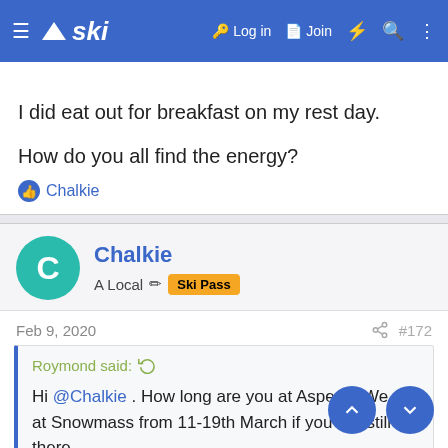ski — Log in  Join
I did eat out for breakfast on my rest day.
How do you all find the energy?
Chalkie
Chalkie — A Local  Ski Pass
Feb 9, 2020   #172
Roymond said:  Hi @Chalkie . How long are you at Aspen ? We are at Snowmass from 11-19th March if you are still there